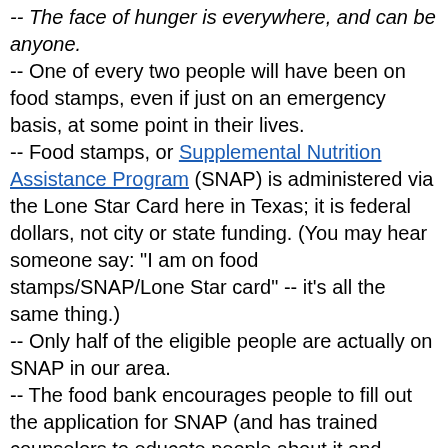-- The face of hunger is everywhere, and can be anyone.
-- One of every two people will have been on food stamps, even if just on an emergency basis, at some point in their lives.
-- Food stamps, or Supplemental Nutrition Assistance Program (SNAP) is administered via the Lone Star Card here in Texas; it is federal dollars, not city or state funding. (You may hear someone say: "I am on food stamps/SNAP/Lone Star card" -- it's all the same thing.)
-- Only half of the eligible people are actually on SNAP in our area.
-- The food bank encourages people to fill out the application for SNAP (and has trained counselors to educate people about it and assist with the applications; they work the 21 counties that comprise Central Texas). The use of food stamps creates more economic activity, otherwise federal dollars designated for the SNAP programs are left on the table, which could lead to under-funding in future budget cycles.
-- The application process is NOT user friendly. The state of Texas has a 10 page application, that generally has to be re-submitted every 6 months; the average family of four receives a $206 per month in SNAP benefits (SNAP...